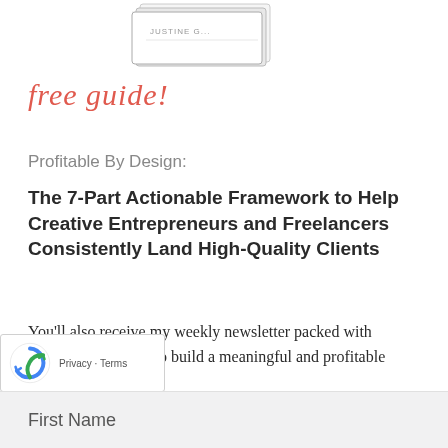[Figure (photo): Partial view of a book or guide with 'Justine' visible on the cover, angled slightly]
free guide!
Profitable By Design:
The 7-Part Actionable Framework to Help Creative Entrepreneurs and Freelancers Consistently Land High-Quality Clients
You'll also receive my weekly newsletter packed with strategies and tools to build a meaningful and profitable creative business.
First Name